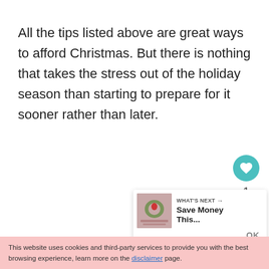All the tips listed above are great ways to afford Christmas. But there is nothing that takes the stress out of the holiday season than starting to prepare for it sooner rather than later.
[Figure (other): Heart (like) button in teal circle showing count of 1, and a share button below it]
[Figure (other): What's Next card showing a thumbnail image and text 'Save Money This...' with an OK button]
This website uses cookies and third-party services to provide you with the best browsing experience, learn more on the disclaimer page.